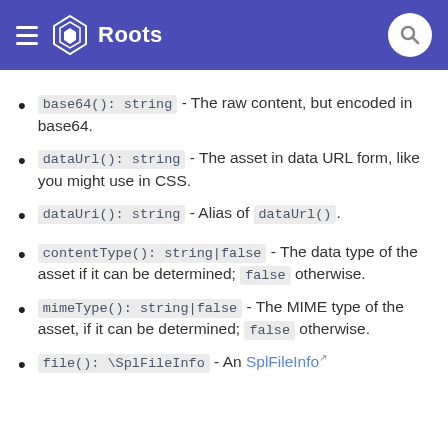Roots
base64(): string - The raw content, but encoded in base64.
dataUrl(): string - The asset in data URL form, like you might use in CSS.
dataUri(): string - Alias of dataUrl().
contentType(): string|false - The data type of the asset if it can be determined; false otherwise.
mimeType(): string|false - The MIME type of the asset, if it can be determined; false otherwise.
file(): \SplFileInfo - An SplFileInfo